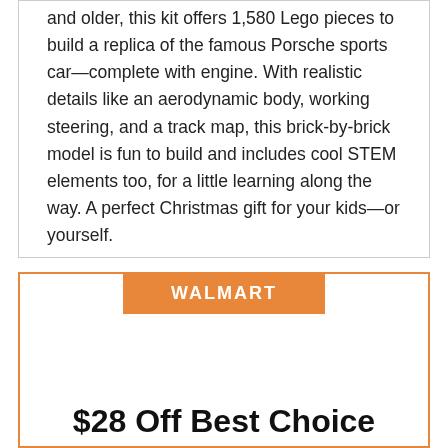and older, this kit offers 1,580 Lego pieces to build a replica of the famous Porsche sports car—complete with engine. With realistic details like an aerodynamic body, working steering, and a track map, this brick-by-brick model is fun to build and includes cool STEM elements too, for a little learning along the way. A perfect Christmas gift for your kids—or yourself.
Regular Price: $149.99
Sale Price: $119.95
You Save: $30.04
WALMART
$28 Off Best Choice